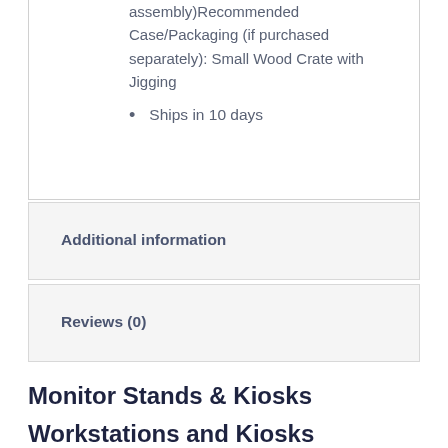assembly)Recommended Case/Packaging (if purchased separately): Small Wood Crate with Jigging
Ships in 10 days
Additional information
Reviews (0)
Monitor Stands & Kiosks
Workstations and Kiosks